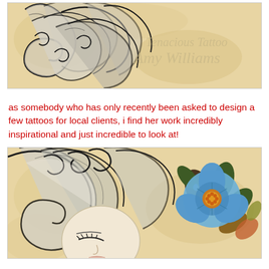[Figure (illustration): Tattoo artwork showing decorative swirling hair/smoke design in black and white on aged parchment background with watermark text 'Tenacious Tattoo Amy Williams']
as somebody who has only recently been asked to design a few tattoos for local clients, i find her work incredibly inspirational and just incredible to look at!
[Figure (illustration): Tattoo artwork showing a female face with elaborate swirling black and white hair and a large blue flower with leaves on the right side, on aged parchment background]